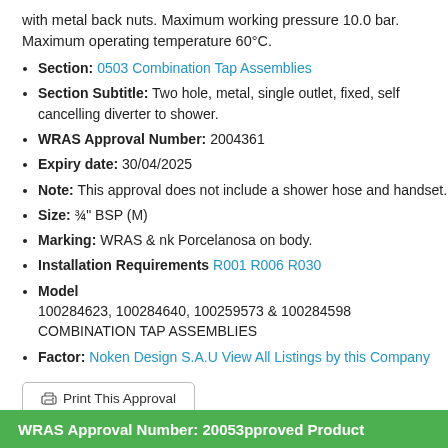with metal back nuts. Maximum working pressure 10.0 bar. Maximum operating temperature 60°C.
Section: 0503 Combination Tap Assemblies
Section Subtitle: Two hole, metal, single outlet, fixed, self cancelling diverter to shower.
WRAS Approval Number: 2004361
Expiry date: 30/04/2025
Note: This approval does not include a shower hose and handset.
Size: ¾" BSP (M)
Marking: WRAS & nk Porcelanosa on body.
Installation Requirements R001 R006 R030
Model
100284623, 100284640, 100259573 & 100284598 COMBINATION TAP ASSEMBLIES
Factor: Noken Design S.A.U View All Listings by this Company
Print This Approval
WRAS Approval Number: 20053 Approved Product